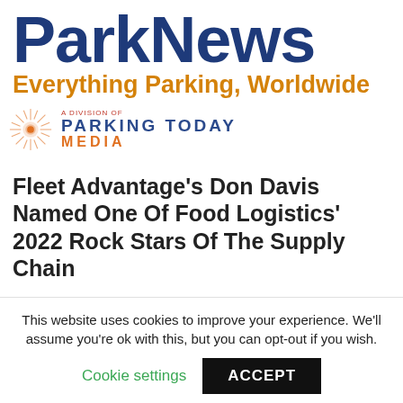ParkNews
Everything Parking, Worldwide
[Figure (logo): Parking Today Media logo with sunburst graphic and stylized text reading 'Parking Today MEDIA']
Fleet Advantage's Don Davis Named One Of Food Logistics' 2022 Rock Stars Of The Supply Chain
This website uses cookies to improve your experience. We'll assume you're ok with this, but you can opt-out if you wish.
Cookie settings   ACCEPT